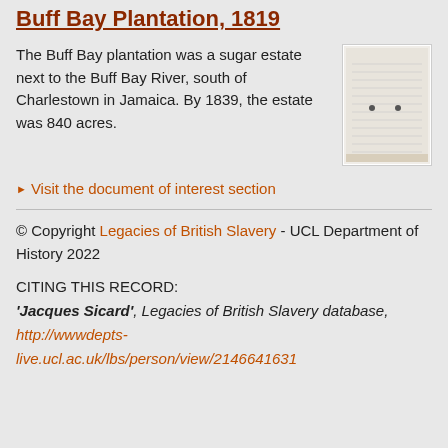Buff Bay Plantation, 1819
The Buff Bay plantation was a sugar estate next to the Buff Bay River, south of Charlestown in Jamaica. By 1839, the estate was 840 acres.
[Figure (photo): A photograph of a historical document or manuscript page, appearing aged and handwritten, shown as a small thumbnail image.]
▶ Visit the document of interest section
© Copyright Legacies of British Slavery - UCL Department of History 2022
CITING THIS RECORD: 'Jacques Sicard', Legacies of British Slavery database, http://wwwdepts-live.ucl.ac.uk/lbs/person/view/2146641631